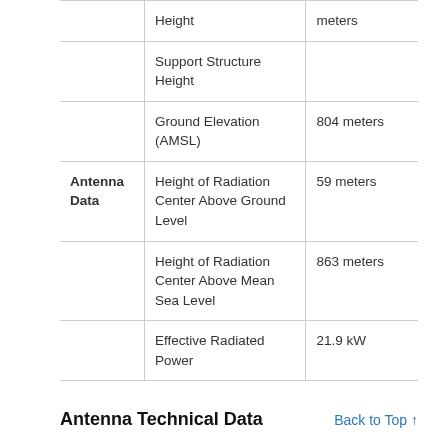|  | Field | Value |
| --- | --- | --- |
|  | Height | meters |
|  | Support Structure Height |  |
|  | Ground Elevation (AMSL) | 804 meters |
| Antenna Data | Height of Radiation Center Above Ground Level | 59 meters |
|  | Height of Radiation Center Above Mean Sea Level | 863 meters |
|  | Effective Radiated Power | 21.9 kW |
Antenna Technical Data
Back to Top ↑